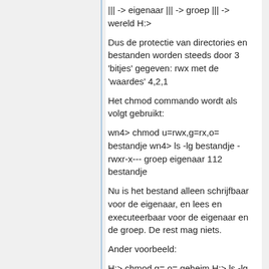||| -> eigenaar ||| -> groep ||| -> wereld H:>
Dus de protectie van directories en bestanden worden steeds door 3 'bitjes' gegeven: rwx met de 'waardes' 4,2,1
Het chmod commando wordt als volgt gebruikt:
wn4> chmod u=rwx,g=rx,o= bestandje wn4> ls -lg bestandje -rwxr-x--- groep eigenaar 112 bestandje
Nu is het bestand alleen schrijfbaar voor de eigenaar, en lees en executeerbaar voor de eigenaar en de groep. De rest mag niets.
Ander voorbeeld:
H:> chmod g=,o= geheim H:> ls -lg geheim -rwx------ groep eigenaar 12 geheim